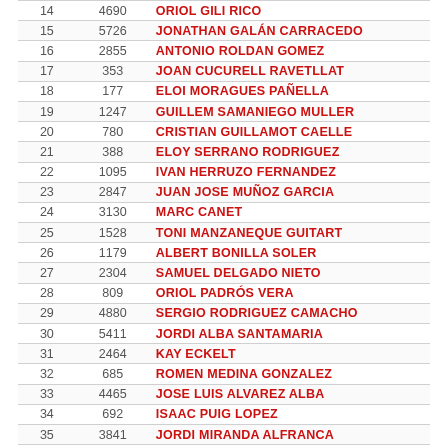| # | Bib | Name |
| --- | --- | --- |
| 14 | 4690 | ORIOL GILI RICO |
| 15 | 5726 | JONATHAN GALÁN CARRACEDO |
| 16 | 2855 | ANTONIO ROLDAN GOMEZ |
| 17 | 353 | JOAN CUCURELL RAVETLLAT |
| 18 | 177 | ELOI MORAGUES PAÑELLA |
| 19 | 1247 | GUILLEM SAMANIEGO MULLER |
| 20 | 780 | CRISTIAN GUILLAMOT CAELLE |
| 21 | 388 | ELOY SERRANO RODRIGUEZ |
| 22 | 1095 | IVAN HERRUZO FERNANDEZ |
| 23 | 2847 | JUAN JOSE MUÑOZ GARCIA |
| 24 | 3130 | MARC CANET |
| 25 | 1528 | TONI MANZANEQUE GUITART |
| 26 | 1179 | ALBERT BONILLA SOLER |
| 27 | 2304 | SAMUEL DELGADO NIETO |
| 28 | 809 | ORIOL PADRÓS VERA |
| 29 | 4880 | SERGIO RODRIGUEZ CAMACHO |
| 30 | 5411 | JORDI ALBA SANTAMARIA |
| 31 | 2464 | KAY ECKELT |
| 32 | 685 | ROMEN MEDINA GONZALEZ |
| 33 | 4465 | JOSE LUIS ALVAREZ ALBA |
| 34 | 692 | ISAAC PUIG LOPEZ |
| 35 | 3841 | JORDI MIRANDA ALFRANCA |
| 36 | 2418 | JORDI GALIAN TORRAS |